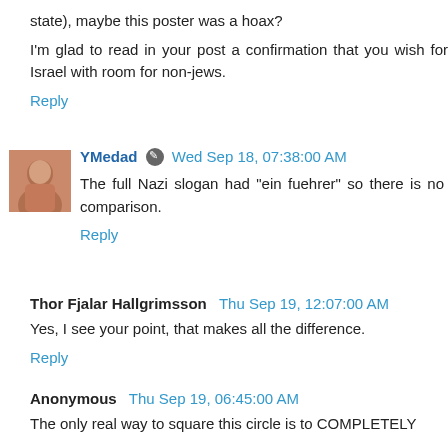state), maybe this poster was a hoax?
I'm glad to read in your post a confirmation that you wish for Israel with room for non-jews.
Reply
YMedad  Wed Sep 18, 07:38:00 AM
The full Nazi slogan had "ein fuehrer" so there is no comparison.
Reply
Thor Fjalar Hallgrimsson  Thu Sep 19, 12:07:00 AM
Yes, I see your point, that makes all the difference.
Reply
Anonymous  Thu Sep 19, 06:45:00 AM
The only real way to square this circle is to COMPLETELY